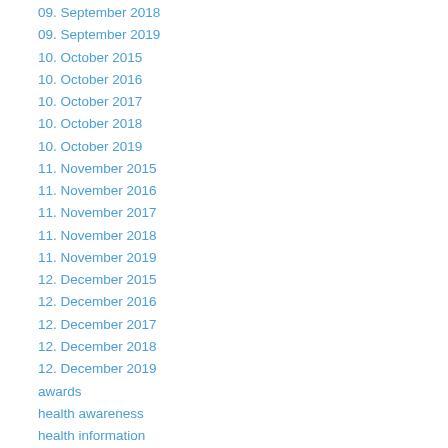09. September 2018
09. September 2019
10. October 2015
10. October 2016
10. October 2017
10. October 2018
10. October 2019
11. November 2015
11. November 2016
11. November 2017
11. November 2018
11. November 2019
12. December 2015
12. December 2016
12. December 2017
12. December 2018
12. December 2019
awards
health awareness
health information